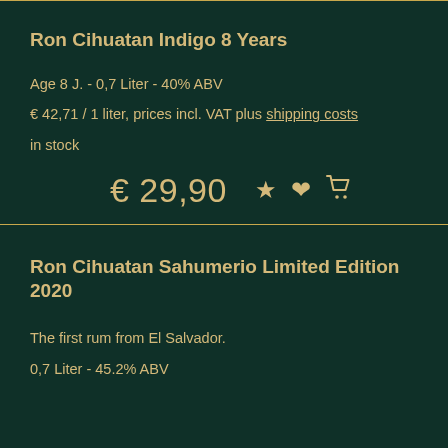Ron Cihuatan Indigo 8 Years
Age 8 J. - 0,7 Liter - 40% ABV
€ 42,71 / 1 liter, prices incl. VAT plus shipping costs
in stock
€ 29,90
Ron Cihuatan Sahumerio Limited Edition 2020
The first rum from El Salvador.
0,7 Liter - 45.2% ABV